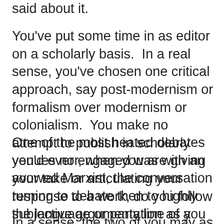said about it.
You've put some time in as editor on a scholarly basis.  In a real sense, you've chosen one critical approach, say post-modernism or formalism over modernism or colonialism.  You make no attempt to publish in scholarly venues nor, when you are giving your take or articulating your response to a work, do you follow the language or party line of a particular school of thought.
One of the most heated debates you'd ever engaged was with an avowed Marxist, the conversation turning to debate then to highly subjective argumentation as you began to insist you were of a similar mind with your opponent and he, with some vigor, held the position that you hadn't the slightest notion of what was at the heart of the Marxist position.
In a sense, the two of you may as well have launched